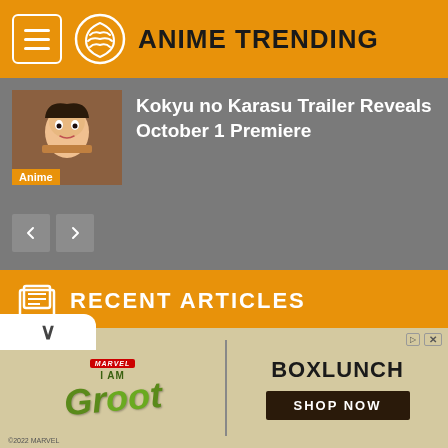ANIME TRENDING
Kokyu no Karasu Trailer Reveals October 1 Premiere
Anime
RECENT ARTICLES
[Figure (illustration): Anime artwork showing colorful characters with pink hair, dark hair, and dynamic poses against a swirling red, purple, and green background]
[Figure (photo): Advertisement for BoxLunch featuring I Am Groot (Marvel) with green Groot text logo on left and BoxLunch text with Shop Now button on right]